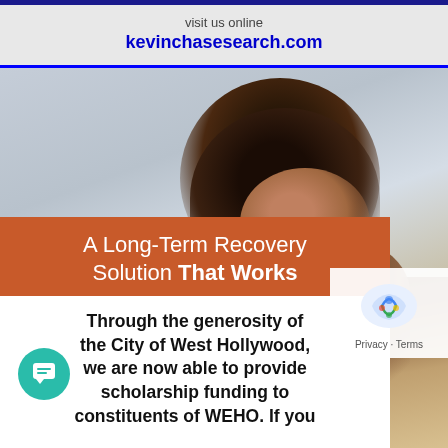visit us online kevinchasesearch.com
[Figure (photo): A young man with wavy brown hair viewed from behind/side, looking slightly downward, against a light sky background. Moody portrait photo.]
A Long-Term Recovery Solution That Works
Through the generosity of the City of West Hollywood, we are now able to provide scholarship funding to constituents of WEHO. If you